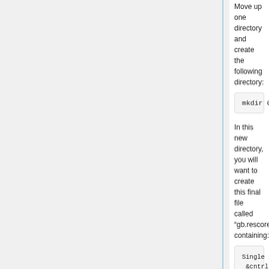Move up one directory and create the following directory:
mkdir 005.MMGBSA
In this new directory, you will want to create this final file called “gb.rescore.in” containing:
Single point GB energy calc
 &cntrl
   ntf     = 1,       ntb = 0,        ntc  = 2,
   idecomp= 0,
   igb     = 5,
 saltcon= 0.00,
   gbsa    = 2,
 surften= 1.0,
   offset = 0.09,
 extdiel= 78.5,
   cut     = 99999.0, nsnb = 99999,